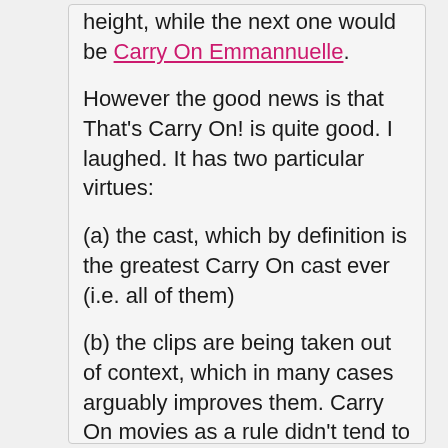height, while the next one would be Carry On Emmannuelle.
However the good news is that That's Carry On! is quite good. I laughed. It has two particular virtues:
(a) the cast, which by definition is the greatest Carry On cast ever (i.e. all of them)
(b) the clips are being taken out of context, which in many cases arguably improves them. Carry On movies as a rule didn't tend to go for the kind of intricate, high-quality writing craftsmanship in which even a single missing element will cause the edifice to collapse. No, they went for stereotypes and cheap gags. Lots of them. This film plays almost like a 90-minute trailer for the entire franchise, which works better than you'd think and means you can enjoy funny bits from unpleasant films like Carry On Camping, Up the Jungle and